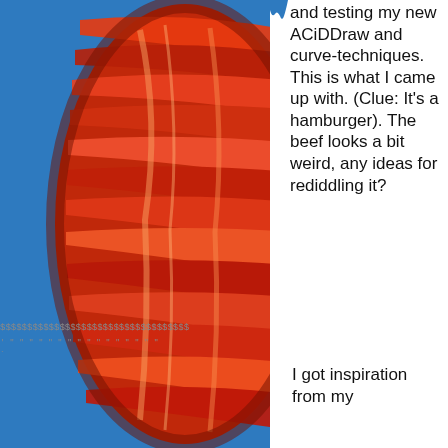[Figure (photo): Close-up photo of layered red and orange meat (beef patty for hamburger) on a blue background, occupying the left two-thirds of the image. The meat has swirling layers of red, orange, and dark red tones.]
and testing my new ACiDDraw and curve-techniques. This is what I came up with. (Clue: It's a hamburger). The beef looks a bit weird, any ideas for rediddling it?
I got inspiration from my